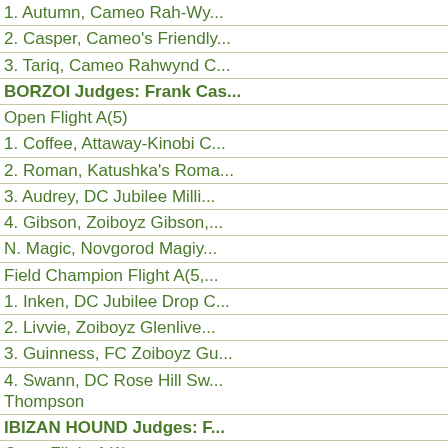1. Autumn, Cameo Rah-Wy...
2. Casper, Cameo's Friendly...
3. Tariq, Cameo Rahwynd C...
BORZOI Judges: Frank Cas...
Open Flight A(5)
1. Coffee, Attaway-Kinobi C...
2. Roman, Katushka's Roma...
3. Audrey, DC Jubilee Milli...
4. Gibson, Zoiboyz Gibson,...
N. Magic, Novgorod Magiy...
Field Champion Flight A(5,...
1. Inken, DC Jubilee Drop C...
2. Livvie, Zoiboyz Glenlive...
3. Guinness, FC Zoiboyz Gu...
4. Swann, DC Rose Hill Sw... Thompson
IBIZAN HOUND Judges: F...
Open Flight A(1)
1. Dori, GCh Harehill's Ado... J.Nester/W.Anderson
Field Champion Flight A(1)
1. O.P., GCh Arbeca's Opus...
PHARAOH HOUND Judge...